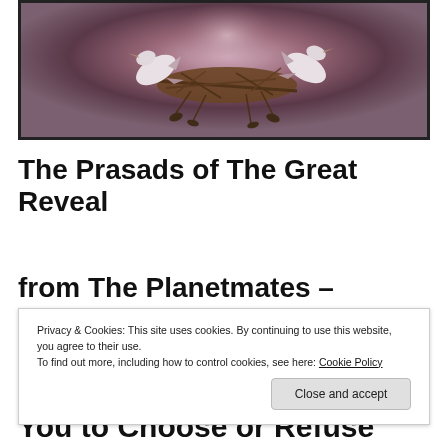[Figure (photo): Photograph of birds (likely ospreys or herons) at a nest with twigs and branches, set against a soft purple-pink blurred background with a circular light effect.]
The Prasads of The Great Reveal
from The Planetmates – Complete
You to Choose or Refuse
Privacy & Cookies: This site uses cookies. By continuing to use this website, you agree to their use.
To find out more, including how to control cookies, see here: Cookie Policy
Close and accept